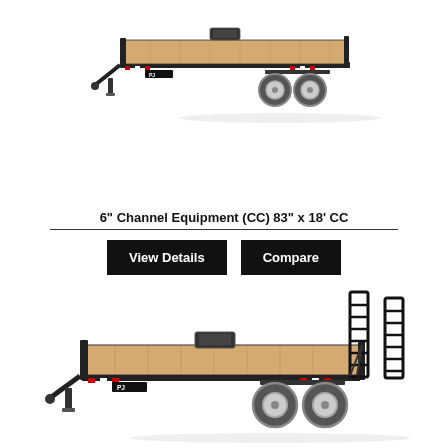[Figure (illustration): Photo of a flatbed equipment trailer (6 inch Channel Equipment CC) with wood deck, twin axles, and hitch, viewed from a 3/4 front angle. Black frame with tan/wood deck.]
6" Channel Equipment (CC) 83" x 18' CC
View Details
Compare
[Figure (illustration): Photo of a larger flatbed equipment trailer with tall fold-up ramps/stands at the back, wood deck, twin axles, and hitch. Black frame with tan/wood deck. PJ brand trailer.]